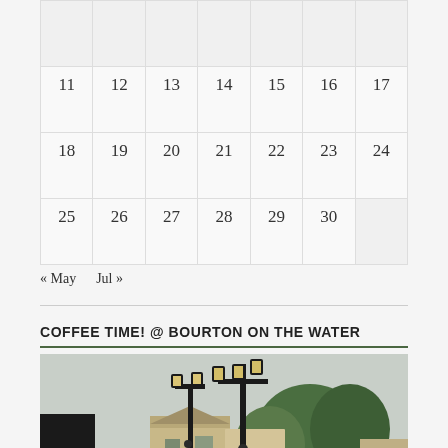|  |  |  |  |  |  |  |
| --- | --- | --- | --- | --- | --- | --- |
| 11 | 12 | 13 | 14 | 15 | 16 | 17 |
| 18 | 19 | 20 | 21 | 22 | 23 | 24 |
| 25 | 26 | 27 | 28 | 29 | 30 |  |
« May    Jul »
COFFEE TIME! @ BOURTON ON THE WATER
[Figure (photo): Photo of Bourton on the Water showing Victorian street lamps in the foreground with flower baskets, stone Cotswold buildings in the background, and trees against an overcast sky.]